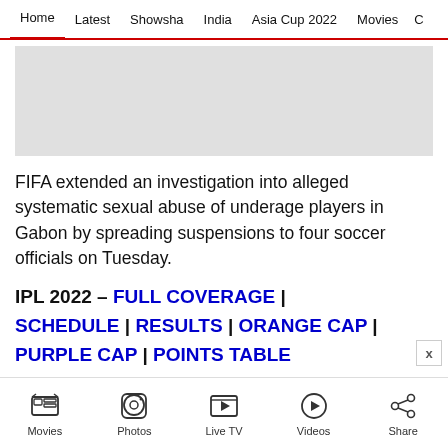Home | Latest | Showsha | India | Asia Cup 2022 | Movies | C
[Figure (other): Gray advertisement placeholder banner]
FIFA extended an investigation into alleged systematic sexual abuse of underage players in Gabon by spreading suspensions to four soccer officials on Tuesday.
IPL 2022 – FULL COVERAGE | SCHEDULE | RESULTS | ORANGE CAP | PURPLE CAP | POINTS TABLE
Movies | Photos | Live TV | Videos | Share